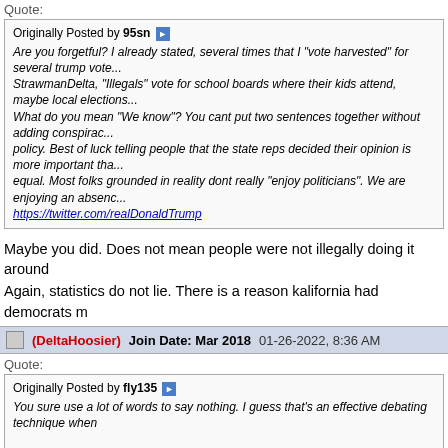Quote:
Originally Posted by 95sn
Are you forgetful? I already stated, several times that I "vote harvested" for several trump vote... StrawmanDelta, "Illegals" vote for school boards where their kids attend, maybe local elections... What do you mean "We know"? You cant put two sentences together without adding conspiracy... policy. Best of luck telling people that the state reps decided their opinion is more important tha... equal. Most folks grounded in reality dont really "enjoy politicians". We are enjoying an absenc... https://twitter.com/realDonaldTrump
Maybe you did. Does not mean people were not illegally doing it around
Again, statistics do not lie. There is a reason kalifornia had democrats m
(DeltaHoosier)   Join Date: Mar 2018   01-26-2022, 8:36 AM
Quote:
Originally Posted by fly135
You sure use a lot of words to say nothing. I guess that's an effective debating technique when...

I knew it was a lie because Trump had never presented any ideas related to what a great healt... they say they are going to quit. Because the claim is inconsistent with anything you've ever see... doesn't have a clue? You can bet that someone who knows what a great HC plan looks like wil...

Cannot parse. Can you not see this sentence is nonsense?

Bet you can't figure out why.
You use a few words to prove you are making stuff up about lies. Here is... is just a policy proposal. We know how this works and the bias in which
(DeltaHoosier)   Join Date: Mar 2018   01-26-2022, 8:39 AM
Quote: